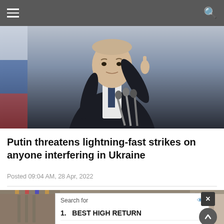Navigation bar with hamburger menu and search icon
[Figure (photo): Man in dark suit with hand raised pointing finger, speaking at podium with microphones, Russian flag visible on left, blurred background]
Putin threatens lightning-fast strikes on anyone interfering in Ukraine
Posted 09:04 AM, 28 Apr, 2022
[Figure (photo): Partial view of a second news photo partially obscured by an advertisement overlay]
Search for
1. BEST HIGH RETURN
2. MASTER'S DEGREE IN
Ad | Business Focus